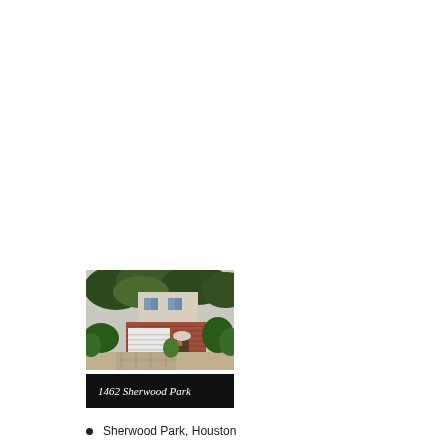[Figure (photo): Exterior photo of a two-story brick house with white garage door, lush trees and landscaping, and a stone driveway]
1462 Sherwood Park
Sherwood Park, Houston